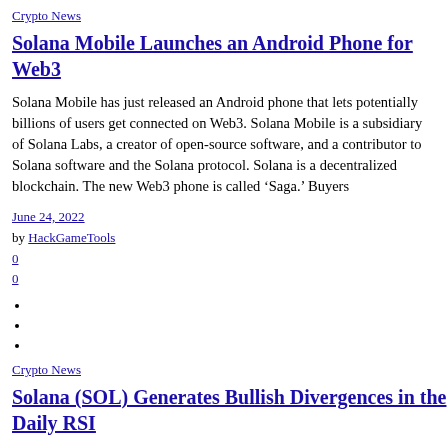Crypto News
Solana Mobile Launches an Android Phone for Web3
Solana Mobile has just released an Android phone that lets potentially billions of users get connected on Web3. Solana Mobile is a subsidiary of Solana Labs, a creator of open-source software, and a contributor to Solana software and the Solana protocol. Solana is a decentralized blockchain. The new Web3 phone is called ‘Saga.’ Buyers
June 24, 2022
by HackGameTools
0
0
Crypto News
Solana (SOL) Generates Bullish Divergences in the Daily RSI